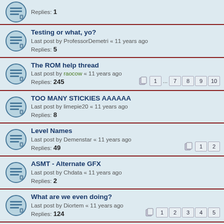Replies: 1
Testing or what, yo? — Last post by ProfessorDemetri « 11 years ago — Replies: 5
The ROM help thread — Last post by raocow « 11 years ago — Replies: 245 — Pages: 1 ... 7 8 9 10
TOO MANY STICKIES AAAAAA — Last post by limepie20 « 11 years ago — Replies: 8
Level Names — Last post by Demenstar « 11 years ago — Replies: 49 — Pages: 1 2
ASMT - Alternate GFX — Last post by Chdata « 11 years ago — Replies: 2
What are we even doing? — Last post by Diortem « 11 years ago — Replies: 124 — Pages: 1 2 3 4 5
The Overworld — Last post by flameofdoubt « 11 years ago — Replies: 106 — Pages: 1 2 3 4 5
a2mt: where are we at? — Last post by Ometeotl « 11 years ago — Replies: 77 — Pages: 1 2 3 4